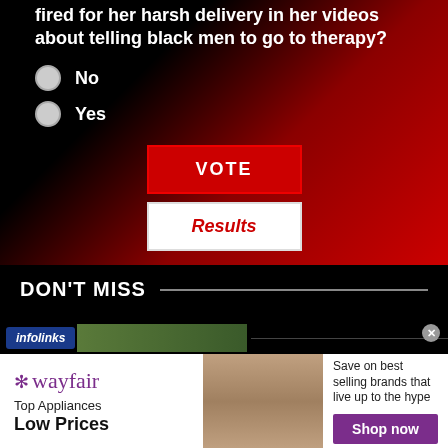fired for her harsh delivery in her videos about telling black men to go to therapy?
No
Yes
VOTE
Results
DON'T MISS
[Figure (infographic): Infolinks advertisement bar with logo badge and image strip]
[Figure (infographic): Wayfair advertisement: Top Appliances Low Prices, Save on best selling brands that live up to the hype, Shop now button]